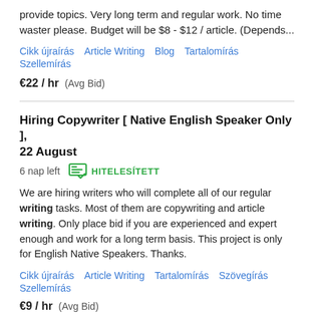provide topics. Very long term and regular work. No time waster please. Budget will be $8 - $12 / article. (Depends...
Cikk újraírás   Article Writing   Blog   Tartalomírás   Szellemírás
€22 / hr  (Avg Bid)
Hiring Copywriter [ Native English Speaker Only ], 22 August  6 nap left  HITELESÍTETT
We are hiring writers who will complete all of our regular writing tasks. Most of them are copywriting and article writing. Only place bid if you are experienced and expert enough and work for a long term basis. This project is only for English Native Speakers. Thanks.
Cikk újraírás   Article Writing   Tartalomírás   Szövegírás   Szellemírás
€9 / hr  (Avg Bid)